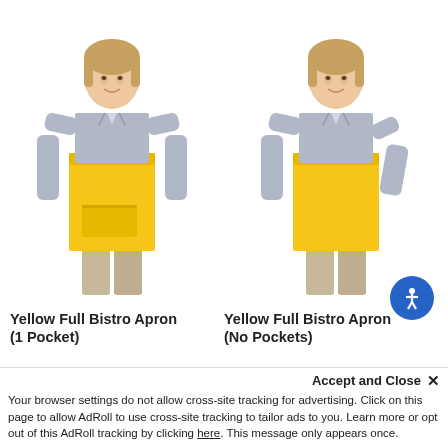[Figure (photo): Two female models wearing yellow full bistro aprons. Left model wears a yellow apron with 1 pocket over a light blue shirt. Right model wears a yellow apron with no pockets over a light blue shirt.]
Yellow Full Bistro Apron
(1 Pocket)
Yellow Full Bistro Apron
(No Pockets)
Accept and Close ✕
Your browser settings do not allow cross-site tracking for advertising. Click on this page to allow AdRoll to use cross-site tracking to tailor ads to you. Learn more or opt out of this AdRoll tracking by clicking here. This message only appears once.